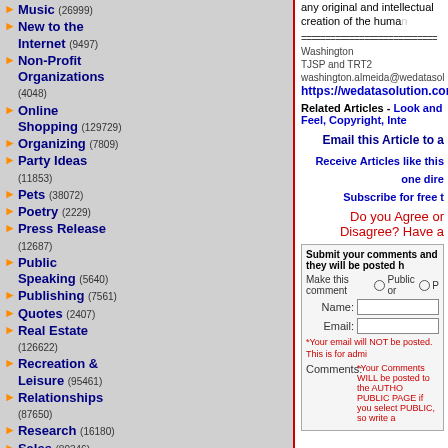Music (26999)
New to the Internet (9497)
Non-Profit Organizations (4048)
Online Shopping (129729)
Organizing (7809)
Party Ideas (11853)
Pets (38072)
Poetry (2229)
Press Release (12687)
Public Speaking (5640)
Publishing (7561)
Quotes (2407)
Real Estate (126622)
Recreation & Leisure (95461)
Relationships (87650)
Research (16180)
Sales (80346)
Science & Technology (110281)
any original and intellectual creation of the huma...
============================ Washington... TJSP and TRT2 washington.almeida@wedatasol... https://wedatasolution.com.br
Related Articles - Look and Feel, Copyright, Inte...
Email this Article to a...
Receive Articles like this one dire... Subscribe for free t...
Do you Agree or Disagree? Have a...
Submit your comments and they will be posted h...
Make this comment Public or P...
Name:
Email:
*Your email will NOT be posted. This is for admi...
Comments: *Your Comments WILL be posted to the AUTHO... PUBLIC PAGE if you select PUBLIC, so write a...